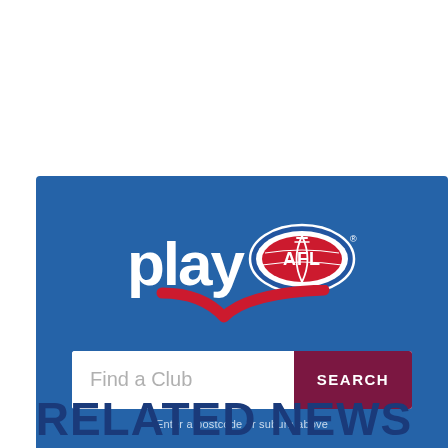[Figure (logo): Play AFL logo with blue banner background, search box with 'Find a Club' placeholder text and dark red SEARCH button, and helper text 'Enter a postcode or suburb above']
RELATED NEWS